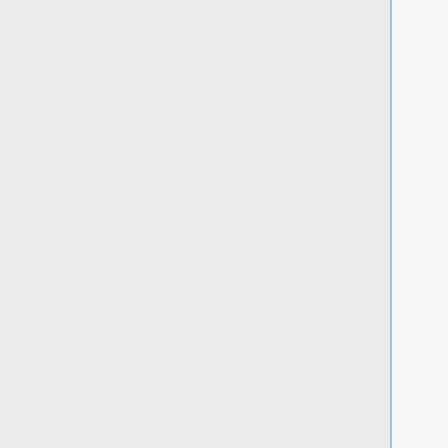yes
internal_energy_rep_exp
12
internal_energy_cutoff
100.0
ligand_atom_file
/gpfs/projects/AMS536/2018/seur
screen.mpi/1c87.flex_scored.mol
limit_max_ligands
no
skip_molecule
no
read_mol_solvation
no
calculate_rmsd
no
use_database_filter
no
orient_ligand
no
bump_filter
no
score_molecules
yes
contact_score_primary